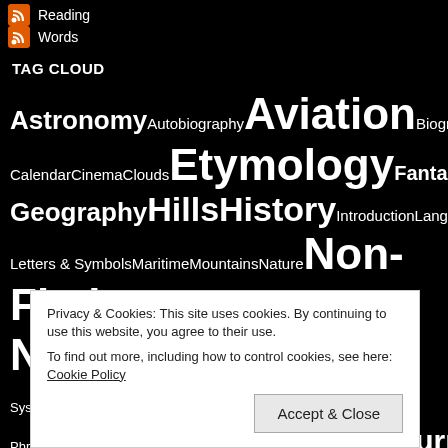Reading
Words
TAG CLOUD
Astronomy Autobiography Aviation Biography Calendar Cinema Clouds Etymology Fantasy Geography Hills History Introduction Language Letters & Symbols Maritime Mountains Nature Non-Fiction Novels Operating Systems Optics Papers Paths Phonetics Phrases Physics Programs Relativity Saturn V Science
Privacy & Cookies: This site uses cookies. By continuing to use this website, you agree to their use. To find out more, including how to control cookies, see here: Cookie Policy